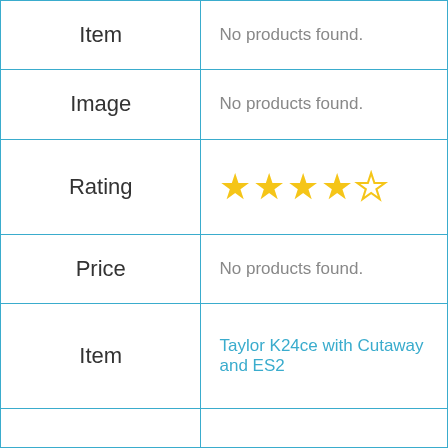| Item | Value |
| --- | --- |
| Item | No products found. |
| Image | No products found. |
| Rating | ★★★★☆ |
| Price | No products found. |
| Item | Taylor K24ce with Cutaway and ES2 |
|  |  |